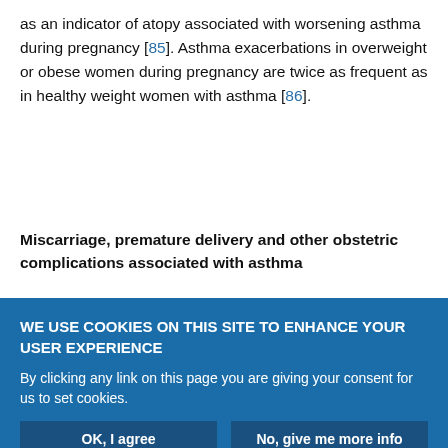as an indicator of atopy associated with worsening asthma during pregnancy [85]. Asthma exacerbations in overweight or obese women during pregnancy are twice as frequent as in healthy weight women with asthma [86].
Miscarriage, premature delivery and other obstetric complications associated with asthma
International guidelines on the management of asthma during pregnancy are consistent in their main recommendations [99, 100]. Most recommend monthly monitoring of symptoms due to the unpredictable course of asthma during pregnancy, which should
WE USE COOKIES ON THIS SITE TO ENHANCE YOUR USER EXPERIENCE
By clicking any link on this page you are giving your consent for us to set cookies.